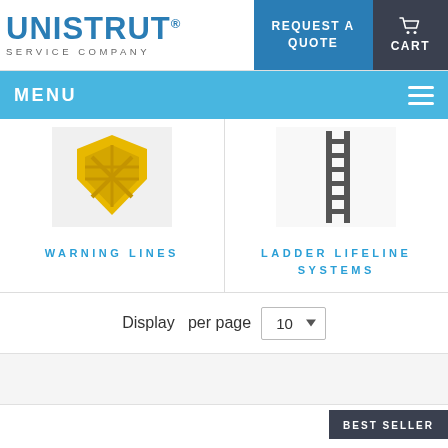[Figure (logo): Unistrut Service Company logo with blue text]
REQUEST A QUOTE
CART
MENU
[Figure (photo): Warning Lines product image — yellow shield icon on white background]
WARNING LINES
[Figure (photo): Ladder Lifeline Systems product image — ladder graphic]
LADDER LIFELINE SYSTEMS
Display   per page
BEST SELLER